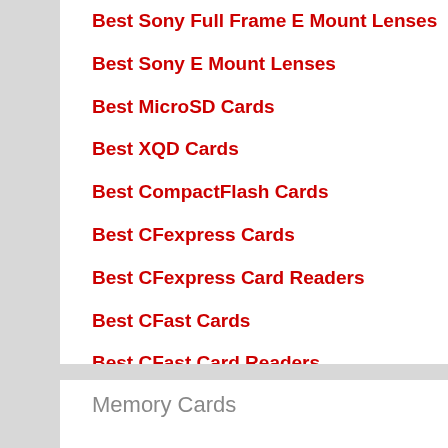Best Sony Full Frame E Mount Lenses
Best Sony E Mount Lenses
Best MicroSD Cards
Best XQD Cards
Best CompactFlash Cards
Best CFexpress Cards
Best CFexpress Card Readers
Best CFast Cards
Best CFast Card Readers
Best Memory Cards for Nintendo Switch
Best Memory Cards for Nintendo Switch Lite
Memory Cards